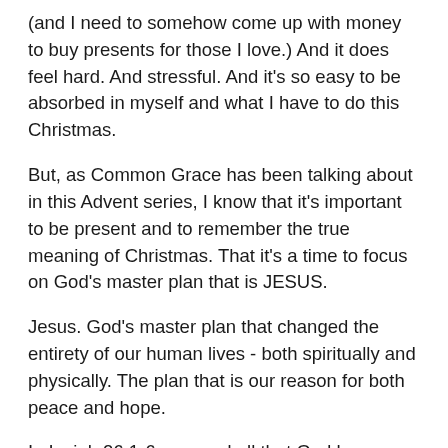(and I need to somehow come up with money to buy presents for those I love.) And it does feel hard. And stressful. And it's so easy to be absorbed in myself and what I have to do this Christmas.
But, as Common Grace has been talking about in this Advent series, I know that it's important to be present and to remember the true meaning of Christmas. That it's a time to focus on God's master plan that is JESUS.
Jesus. God's master plan that changed the entirety of our human lives - both spiritually and physically. The plan that is our reason for both peace and hope.
In Isaiah 26:1-6, we read all that God has promised us, that is fulfilled in Jesus. We are reminded that God is faithful and a 'sure thing'. He's always present. And whilst we humans can get so caught up in ourselves and our own selfish ways, God always does things right. And not because he has to- but because he wants to. He loves us that much. Through Jesus, God set everything right. Because he loves us.